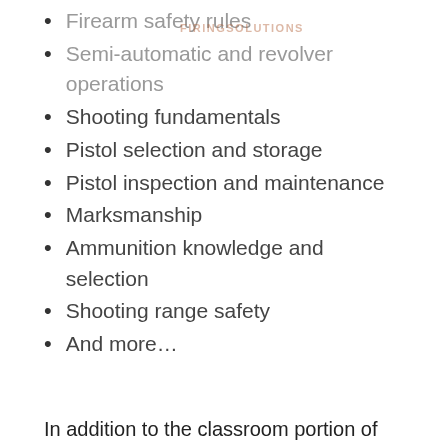Firearm safety rules
Semi-automatic and revolver operations
Shooting fundamentals
Pistol selection and storage
Pistol inspection and maintenance
Marksmanship
Ammunition knowledge and selection
Shooting range safety
And more…
In addition to the classroom portion of this course, the student will participate in live-fire training and nationally standardized shooting qualification alongside an NRA Certified Instructor. Upon successful completion of this course, the student will be eligible for his or her concealed carry permit. The live-fire session of this